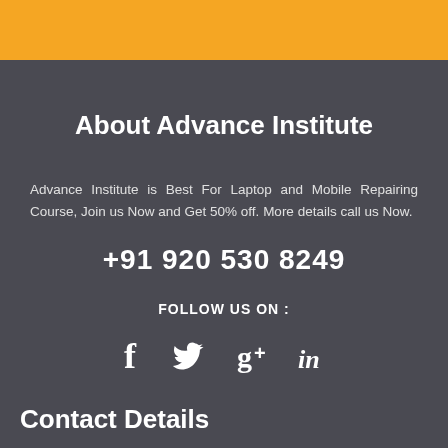[Figure (other): Orange header bar at top of page]
About Advance Institute
Advance Institute is Best For Laptop and Mobile Repairing Course, Join us Now and Get 50% off. More details call us Now.
+91 920 530 8249
FOLLOW US ON :
[Figure (infographic): Social media icons: Facebook, Twitter, Google+, LinkedIn]
Contact Details